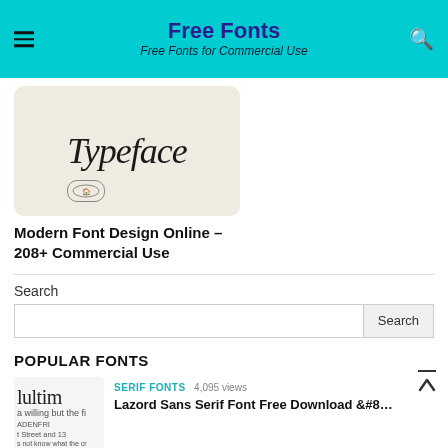Free Fonts — Free Fonts for Commercial Use
[Figure (screenshot): Featured font preview image showing stylized 'Typeface' text on beige background]
Modern Font Design Online – 208+ Commercial Use
Search
Search button
POPULAR FONTS
[Figure (screenshot): Font preview thumbnail showing 'ultim' serif text]
SERIF FONTS  4,095 views
Lazord Sans Serif Font Free Download &#8...
[Figure (screenshot): Teal/turquoise font preview thumbnail]
MODERN FONTS  1,402 views
Bd Sprint Font Free Download Scree &#331...